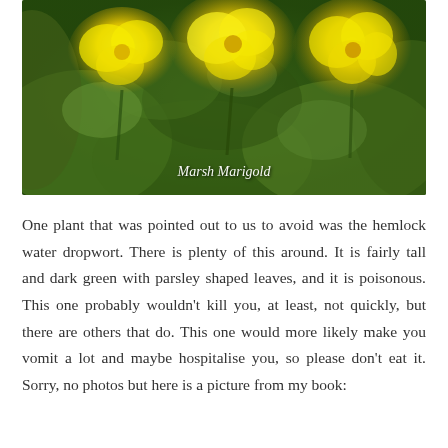[Figure (photo): Close-up photograph of yellow Marsh Marigold flowers with bright yellow petals and green leaves in the background. The text 'Marsh Marigold' appears overlaid in white italic text near the bottom center of the image.]
One plant that was pointed out to us to avoid was the hemlock water dropwort. There is plenty of this around. It is fairly tall and dark green with parsley shaped leaves, and it is poisonous. This one probably wouldn't kill you, at least, not quickly, but there are others that do. This one would more likely make you vomit a lot and maybe hospitalise you, so please don't eat it. Sorry, no photos but here is a picture from my book: